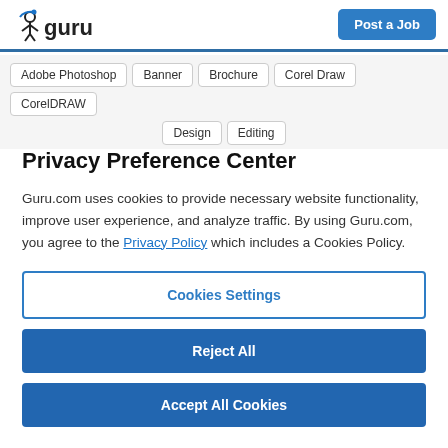guru — Post a Job
Adobe Photoshop
Banner
Brochure
Corel Draw
CorelDRAW
Design
Editing
Privacy Preference Center
Guru.com uses cookies to provide necessary website functionality, improve user experience, and analyze traffic. By using Guru.com, you agree to the Privacy Policy which includes a Cookies Policy.
Cookies Settings
Reject All
Accept All Cookies